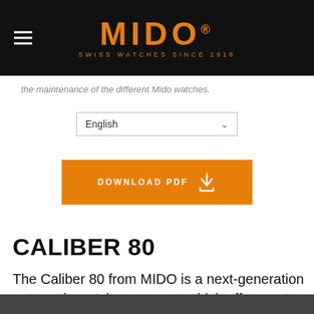MIDO® SWISS WATCHES SINCE 1918
the maintenance of the different Mido watches.
English
[Figure (other): Orange DOWNLOAD PDF button with download icon]
CALIBER 80
The Caliber 80 from MIDO is a next-generation automatic watch movement which offers up to